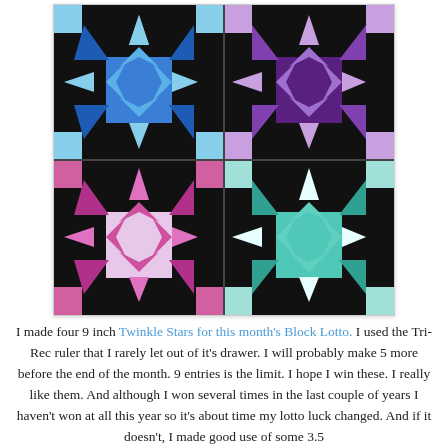[Figure (photo): Photo of four 9-inch Twinkle Star quilt blocks arranged in a 2x2 grid on a black background. Top-left block has blue star, top-right has purple star, bottom-left has pink/magenta star, bottom-right has teal/aqua star.]
I made four 9 inch Twinkle Stars for this month's Block Lotto. I used the Tri-Rec ruler that I rarely let out of it's drawer.  I will probably make 5 more before the end of the month. 9 entries is the limit. I hope I win these. I really like them. And although I won several times in the last couple of years I haven't won at all this year so it's about time my lotto luck changed.  And if it doesn't, I made good use of some 3.5